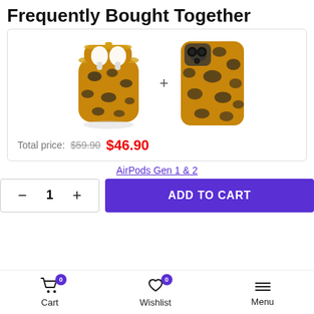Frequently Bought Together
[Figure (photo): Two leopard-print products: an AirPods Gen 1 & 2 case (open with AirPods inside) and a smartphone case, shown side by side separated by a plus sign]
Total price: $59.90 $46.90
AirPods Gen 1 & 2
- 1 + ADD TO CART
Cart 0  Wishlist 0  Menu